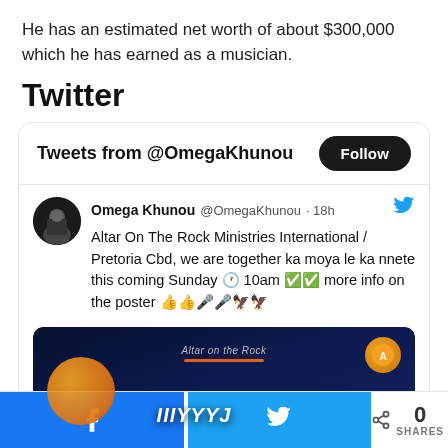He has an estimated net worth of about $300,000 which he has earned as a musician.
Twitter
[Figure (screenshot): Embedded Twitter widget showing tweets from @OmegaKhunou with a Follow button, a tweet about Altar On The Rock Ministries International in Pretoria Cbd, and a partial event poster image.]
[Figure (screenshot): Bottom share bar with Facebook and Twitter share buttons and a shares count of 0.]